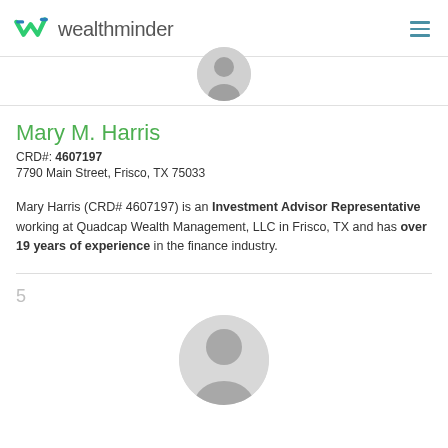wealthminder
[Figure (illustration): Partial view of a circular default user avatar (grey placeholder profile image) at top of page]
Mary M. Harris
CRD#: 4607197
7790 Main Street, Frisco, TX 75033
Mary Harris (CRD# 4607197) is an Investment Advisor Representative working at Quadcap Wealth Management, LLC in Frisco, TX and has over 19 years of experience in the finance industry.
5
[Figure (illustration): Partial view of a circular default user avatar (grey placeholder profile image) at bottom of page]